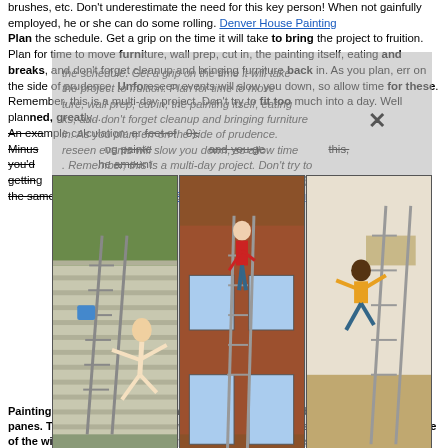brushes, etc. Don't underestimate the need for this key person! When not gainfully employed, he or she can do some rolling. Denver House Painting
Plan the schedule. Get a grip on the time it will take to bring the project to fruition. Plan for time to move furniture, wall prep, cut in, the painting itself, eating and breaks, and don't forget cleanup and bringing furniture back in. As you plan, err on the side of prudence. Unforeseen events will slow you down, so allow time for these. Remember, this is a multi-day project. Don't try to fit too much into a day. Well planned, great...
An example calculation: ...square feet of... Minus... painting... and you get... this, you'd... the amount... getting... needed, since 1 1/2 quarts (2) of paint... essentially the same as a gallon in most stores. House Painting Denver Colorado
[Figure (photo): Three photos side by side showing people falling off ladders: left panel shows person falling off ladder against house siding, middle shows person climbing/clinging to window of brick house with ladder, right shows person falling over equipment indoors.]
Painting exterior windows depend on the size of the window and the number of panes. To calculate the price for windows larger than 15 sq. ft., add 1' to each side of the window and then multiply width x length. Add two sq. ft. for each window pane